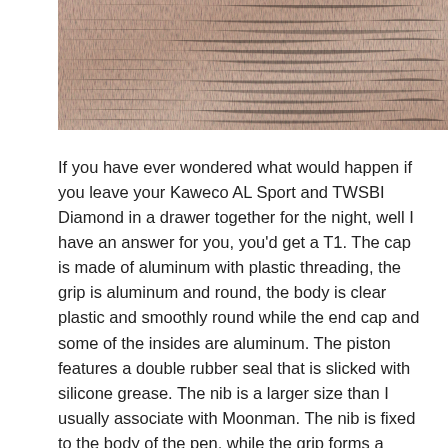[Figure (photo): Close-up photo of a light pinkish-beige textured surface, possibly wood grain or a pen body material, cropped at the top of the page.]
If you have ever wondered what would happen if you leave your Kaweco AL Sport and TWSBI Diamond in a drawer together for the night, well I have an answer for you, you'd get a T1. The cap is made of aluminum with plastic threading, the grip is aluminum and round, the body is clear plastic and smoothly round while the end cap and some of the insides are aluminum. The piston features a double rubber seal that is slicked with silicone grease. The nib is a larger size than I usually associate with Moonman. The nib is fixed to the body of the pen, while the grip forms a sleeve around it. Removing the grip and nib unit took some oomph. I think it had some glue to prevent this, but uh, not any more. It also had some silicone grease on the threads. After I cleaned it with warm water I regreased the threads and screwed it all together, snuggly, not too tight.